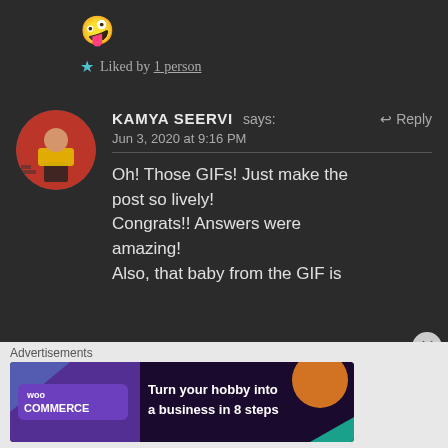🤪
★ Liked by 1 person
KAMYA SEERVI says: ↩ Reply
Jun 3, 2020 at 9:16 PM
Oh! Those GIFs! Just make the post so lively!
Congrats!! Answers were amazing!
Also, that baby from the GIF is
Advertisements
[Figure (screenshot): WooCommerce advertisement banner: 'Turn your hobby into a business in 8 steps' with teal, orange, and purple geometric shapes on dark background]